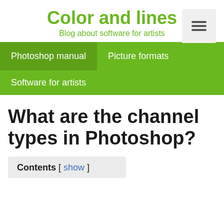Color and lines
Blog about software for artists
Photoshop manual
Picture formats
Software for artists
What are the channel types in Photoshop?
Contents [ show ]